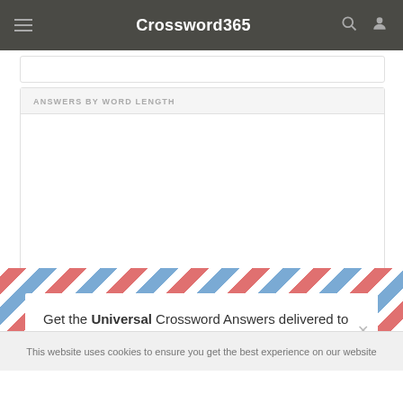Crossword365
ANSWERS BY WORD LENGTH
[Figure (screenshot): Modal popup with air-mail diagonal stripe border. Contains email subscription prompt and input field.]
Get the Universal Crossword Answers delivered to your inbox every day!
Your E-Mail Address
This website uses cookies to ensure you get the best experience on our website